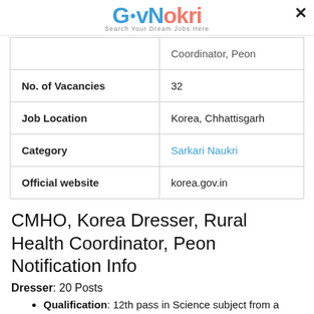GovNokri - Search Your Dream Job Here
| Field | Value |
| --- | --- |
|  | Coordinator, Peon |
| No. of Vacancies | 32 |
| Job Location | Korea, Chhattisgarh |
| Category | Sarkari Naukri |
| Official website | korea.gov.in |
CMHO, Korea Dresser, Rural Health Coordinator, Peon Notification Info
Dresser: 20 Posts
Qualification: 12th pass in Science subject from a